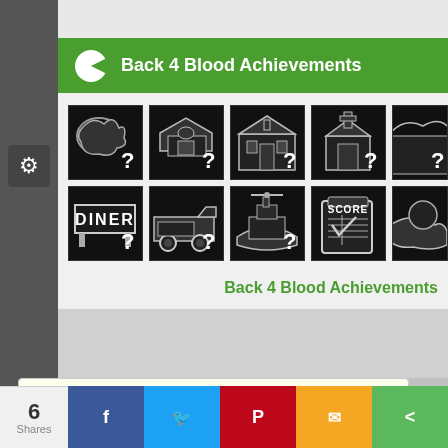Back 4 Blood Achievements
[Figure (screenshot): Grid of Back 4 Blood achievement icons — black and white game achievement thumbnails with question marks, shown in two rows of five icons each]
Back 4 Blood Achievements
Most Recent Trailers for Back 4 Blood
Welcome to XboxOne-HQ. Register for free and get involved in our Xbox One
Back 4 Blood | XBOX Open Be
6
Shares